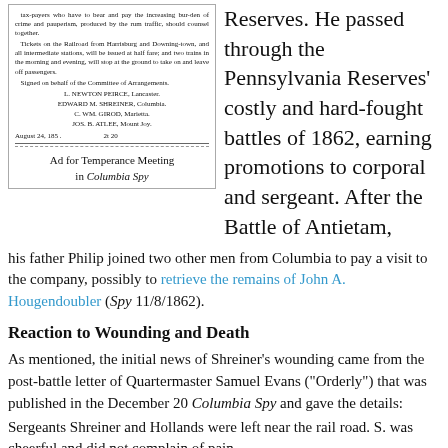[Figure (illustration): Scanned newspaper advertisement for a Temperance Meeting, showing text about tax-payers, railroad tickets, committee members including L. Newton Peirce, Edward M. Shreiner, C. Wm. Girod, Jos. B. Atlee, dated August 24, 185_.]
Ad for Temperance Meeting in Columbia Spy
Reserves. He passed through the Pennsylvania Reserves' costly and hard-fought battles of 1862, earning promotions to corporal and sergeant. After the Battle of Antietam, his father Philip joined two other men from Columbia to pay a visit to the company, possibly to retrieve the remains of John A. Hougendoubler (Spy 11/8/1862).
Reaction to Wounding and Death
As mentioned, the initial news of Shreiner's wounding came from the post-battle letter of Quartermaster Samuel Evans ("Orderly") that was published in the December 20 Columbia Spy and gave the details: Sergeants Shreiner and Hollands were left near the rail road. S. was cheerful and did not complain of pain.